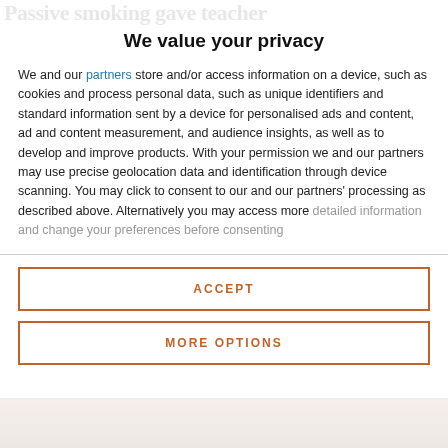Passive smoking gave teacher
We value your privacy
We and our partners store and/or access information on a device, such as cookies and process personal data, such as unique identifiers and standard information sent by a device for personalised ads and content, ad and content measurement, and audience insights, as well as to develop and improve products. With your permission we and our partners may use precise geolocation data and identification through device scanning. You may click to consent to our and our partners' processing as described above. Alternatively you may access more detailed information and change your preferences before consenting
ACCEPT
MORE OPTIONS
[Figure (photo): Partial photo visible at bottom of page, showing a person, cropped and partially visible]